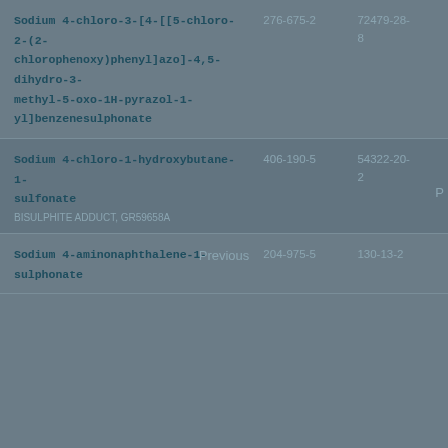| Name | EC Number | CAS Number |
| --- | --- | --- |
| Sodium 4-chloro-3-[4-[[5-chloro-2-(2-chlorophenoxy)phenyl]azo]-4,5-dihydro-3-methyl-5-oxo-1H-pyrazol-1-yl]benzenesulphonate | 276-675-2 | 72479-28-8 |
| Sodium 4-chloro-1-hydroxybutane-1-sulfonate
BISULPHITE ADDUCT, GR59658A | 406-190-5 | 54322-20-2 |
| Sodium 4-aminonaphthalene-1-sulphonate | 204-975-5 | 130-13-2 |
Previous
P